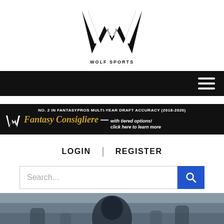[Figure (logo): Wolf Sports logo — large stylized W with wolf silhouette inside, 'WOLF SPORTS' text below]
[Figure (other): Black navigation bar with hamburger menu icon (three white horizontal lines) on the right]
[Figure (infographic): Black advertisement banner: 'NO. 2 IN FANTASYPROS MULTI-YEAR DRAFT ACCURACY (2018-2020)' at top, then Wolf Sports W logo followed by 'Fantasy Consigliere' in gold italic text, dash, and 'with tiered options! click here to learn more' in white italic text]
LOGIN   |   REGISTER
Search...
[Figure (photo): Partial hero image showing a dark-themed battle scene with armored figures, resembling Game of Thrones or fantasy setting]